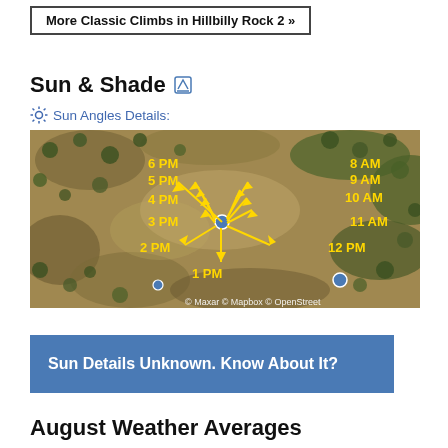More Classic Climbs in Hillbilly Rock 2 »
Sun & Shade
Sun Angles Details:
[Figure (map): Aerial satellite map showing sun angle arrows with time labels (6 PM, 5 PM, 4 PM, 3 PM, 2 PM, 1 PM, 12 PM, 11 AM, 10 AM, 9 AM, 8 AM) radiating from a central point on rocky terrain. Attribution: © Maxar © Mapbox © OpenStreet]
Sun Details Unknown. Know About It?
August Weather Averages